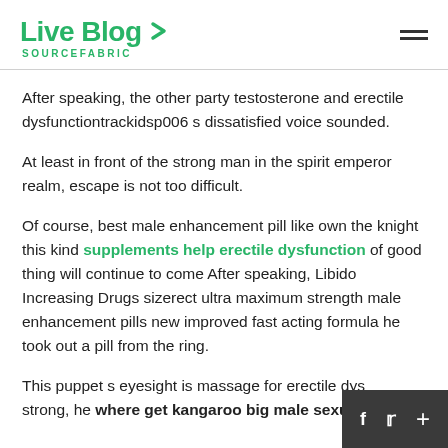Live Blog SOURCEFABRIC
After speaking, the other party testosterone and erectile dysfunctiontrackidsp006 s dissatisfied voice sounded.
At least in front of the strong man in the spirit emperor realm, escape is not too difficult.
Of course, best male enhancement pill like own the knight this kind supplements help erectile dysfunction of good thing will continue to come After speaking, Libido Increasing Drugs sizerect ultra maximum strength male enhancement pills new improved fast acting formula he took out a pill from the ring.
This puppet s eyesight is massage for erectile dys… strong, he where get kangaroo big male sexual…